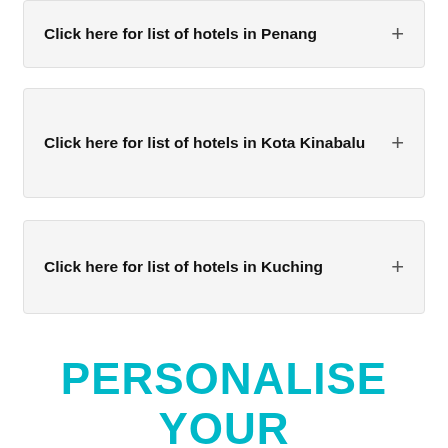Click here for list of hotels in Penang +
Click here for list of hotels in Kota Kinabalu +
Click here for list of hotels in Kuching +
PERSONALISE YOUR